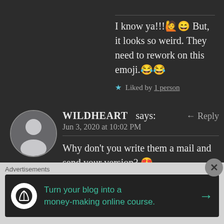I know ya!!!🙋😄 But, it looks so weird. They need to rework on this emoji.😂😂
★ Liked by 1 person
WILDHEART says: ← Reply
Jun 3, 2020 at 10:02 PM
Why don't you write them a mail and send your version? 😍😍😍
Advertisements
Turn your blog into a money-making online course. →